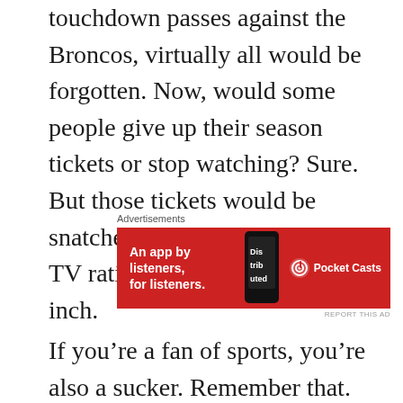touchdown passes against the Broncos, virtually all would be forgotten. Now, would some people give up their season tickets or stop watching? Sure. But those tickets would be snatched in three seconds and the TV ratings wouldn't move an inch.
[Figure (other): Pocket Casts advertisement banner with red background. Text reads 'An app by listeners, for listeners.' with a phone image showing 'Distributed' text and the Pocket Casts logo.]
If you're a fan of sports, you're also a sucker. Remember that.
Also remember that when a guy keeps telling you